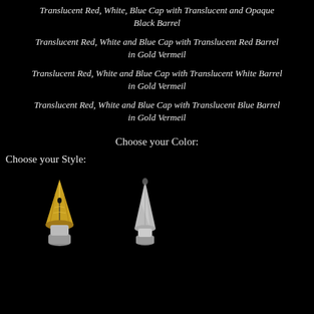Translucent Red, White, Blue Cap with Translucent and Opaque Black Barrel
Translucent Red, White and Blue Cap with Translucent Red Barrel in Gold Vermeil
Translucent Red, White and Blue Cap with Translucent White Barrel in Gold Vermeil
Translucent Red, White and Blue Cap with Translucent Blue Barrel in Gold Vermeil
Choose your Color:
Choose your Style:
[Figure (photo): Two fountain pen nibs side by side on a black background. Left nib is gold-toned with decorative detailing. Right nib is silver-toned, simpler in design.]